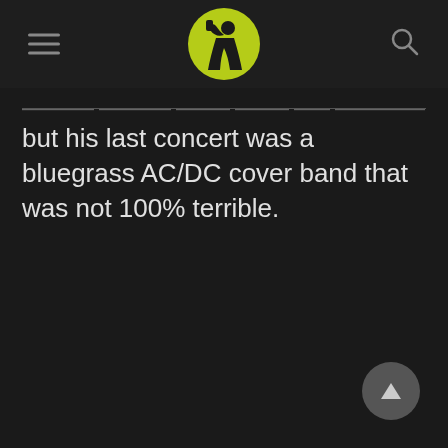[hamburger menu] [logo] [search icon]
but his last concert was a bluegrass AC/DC cover band that was not 100% terrible.